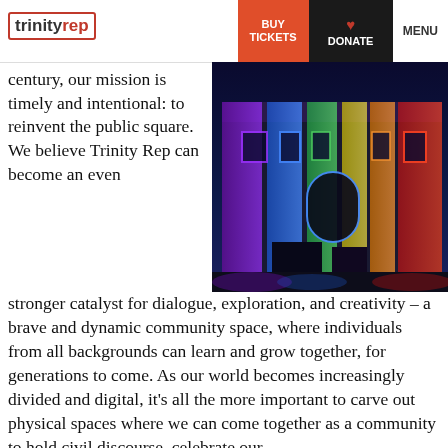trinity rep — BUY TICKETS | DONATE | MENU
century, our mission is timely and intentional: to reinvent the public square. We believe Trinity Rep can become an even
[Figure (photo): A historic theater building illuminated with rainbow-colored lights at night — purple, blue, green, yellow, orange, red — viewed from street level at an angle.]
stronger catalyst for dialogue, exploration, and creativity – a brave and dynamic community space, where individuals from all backgrounds can learn and grow together, for generations to come. As our world becomes increasingly divided and digital, it's all the more important to carve out physical spaces where we can come together as a community to hold civil discourse, celebrate our